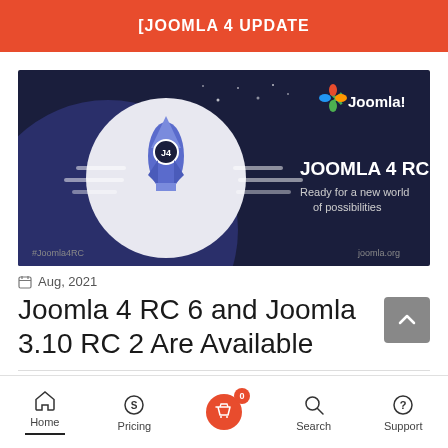[JOOMLA 4 UPDATE
[Figure (illustration): Joomla 4 RC6 promotional banner showing a rocket with J4 label launching in a circular white area, dark navy background, Joomla logo top right, tagline 'JOOMLA 4 RC6 Ready for a new world of possibilities', hashtag #Joomla4RC bottom left, joomla.org bottom right.]
Aug, 2021
Joomla 4 RC 6 and Joomla 3.10 RC 2 Are Available
Home  Pricing  0  Search  Support